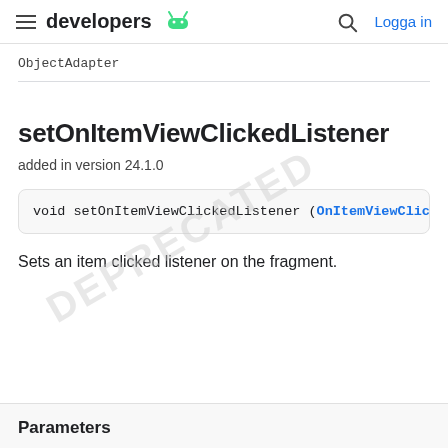developers [Android logo] | Q Logga in
ObjectAdapter
setOnItemViewClickedListener
added in version 24.1.0
void setOnItemViewClickedListener (OnItemViewClicke
Sets an item clicked listener on the fragment.
Parameters